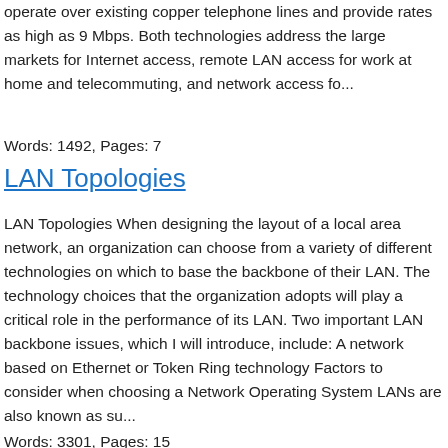operate over existing copper telephone lines and provide rates as high as 9 Mbps. Both technologies address the large markets for Internet access, remote LAN access for work at home and telecommuting, and network access fo...
Words: 1492, Pages: 7
LAN Topologies
LAN Topologies When designing the layout of a local area network, an organization can choose from a variety of different technologies on which to base the backbone of their LAN. The technology choices that the organization adopts will play a critical role in the performance of its LAN. Two important LAN backbone issues, which I will introduce, include: A network based on Ethernet or Token Ring technology Factors to consider when choosing a Network Operating System LANs are also known as su...
Words: 3301, Pages: 15